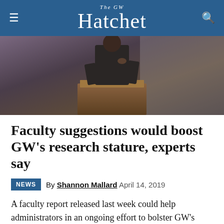The GW Hatchet
[Figure (photo): A person in a dark suit standing at or near a wooden podium, photo taken from a low angle with a purple/grey background.]
Faculty suggestions would boost GW's research stature, experts say
By Shannon Mallard April 14, 2019
A faculty report released last week could help administrators in an ongoing effort to bolster GW's research reputation, experts said.